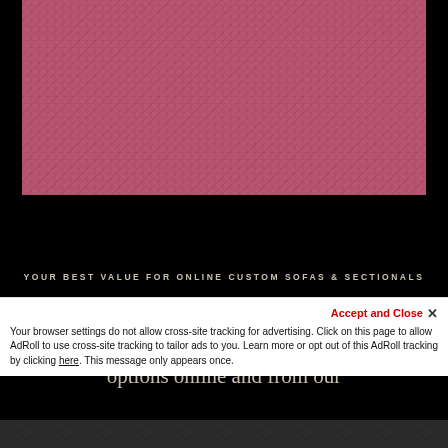[Figure (photo): Close-up texture of pink/mauve fabric or leather material with a woven or suede-like surface]
YOUR BEST VALUE FOR ONLINE CUSTOM SOFAS & SECTIONALS
We are a small family owned and operated furniture company that offers quality seating options online and from our
Accept and Close ✕
Your browser settings do not allow cross-site tracking for advertising. Click on this page to allow AdRoll to use cross-site tracking to tailor ads to you. Learn more or opt out of this AdRoll tracking by clicking here. This message only appears once.